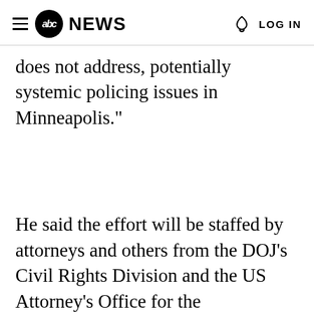abc NEWS  LOG IN
does not address, potentially systemic policing issues in Minneapolis."
He said the effort will be staffed by attorneys and others from the DOJ's Civil Rights Division and the US Attorney's Office for the